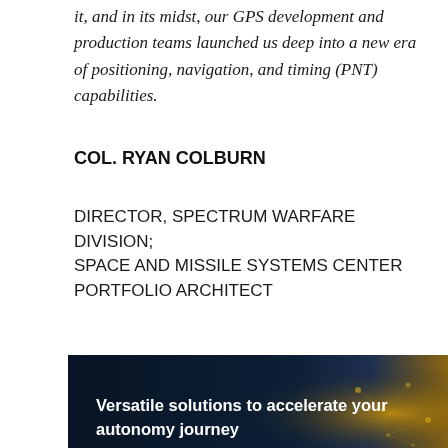it, and in its midst, our GPS development and production teams launched us deep into a new era of positioning, navigation, and timing (PNT) capabilities.
COL. RYAN COLBURN
DIRECTOR, SPECTRUM WARFARE DIVISION; SPACE AND MISSILE SYSTEMS CENTER PORTFOLIO ARCHITECT
[Figure (infographic): Dark banner with text 'Versatile solutions to accelerate your autonomy journey' on a dark navy and gold/yellow gradient background with glowing network nodes on the right side.]
The list of capabilities delivered across Space and Missile Systems Center (SMC) segments, in just one year, is of a volume not seen in decades. In short, we launched two and operationally accepted four new